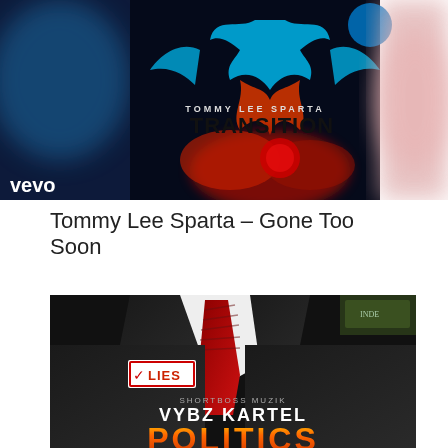[Figure (illustration): Album art for Tommy Lee Sparta 'Transition' featuring a phoenix bird in blue and red flames against a dark background, with vevo logo in lower left corner]
Tommy Lee Sparta – Gone Too Soon
[Figure (illustration): Album art for Vybz Kartel 'Politics' by Shortboss Muzik, showing a man in a dark suit with a red tie and a 'LIES' stamp badge on the jacket, with the word POLITICS partially visible at the bottom in gold/red letters]